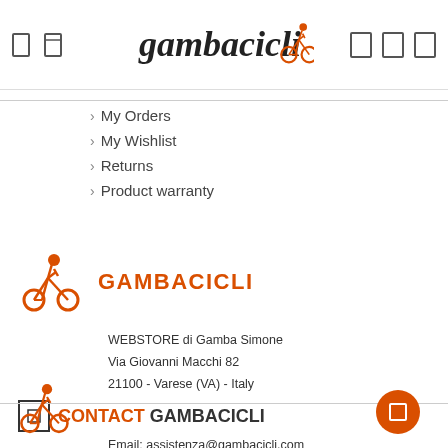Gambacicli logo header
My Orders
My Wishlist
Returns
Product warranty
[Figure (logo): Gambacicli logo icon (cyclist silhouette in orange)]
GAMBACICLI
WEBSTORE di Gamba Simone
Via Giovanni Macchi 82
21100 - Varese (VA) - Italy
CONTACT GAMBACICLI
Email: assistenza@gambacicli.com
Contact Form: send a request
Gambacicli footer logo